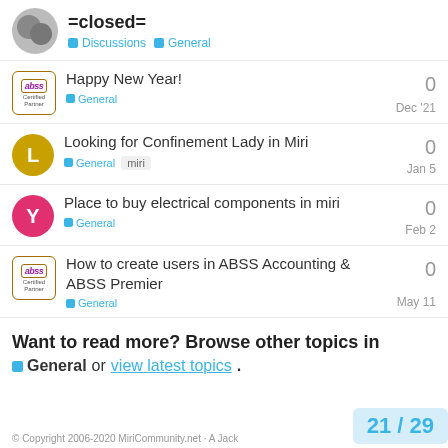=closed= | Discussions | General
Happy New Year! | General | Dec '21 | 0 replies
Looking for Confinement Lady in Miri | General | miri | Jan 5 | 0 replies
Place to buy electrical components in miri | General | Feb 2 | 0 replies
How to create users in ABSS Accounting & ABSS Premier | General | May 11 | 0 replies
Want to read more? Browse other topics in General or view latest topics.
© Copyright 2006-2020 MiriCommunity.net · A Jack | 21 / 29